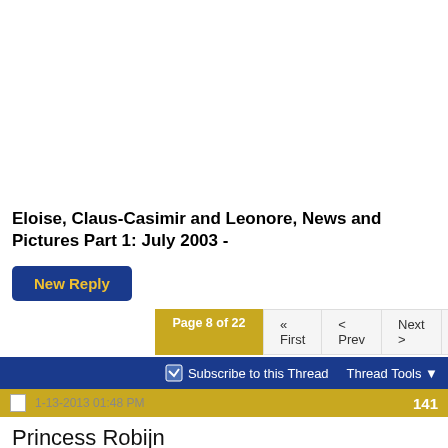Eloise, Claus-Casimir and Leonore, News and Pictures Part 1: July 2003 -
New Reply
Page 8 of 22  « First  < Prev  Next >  Last »
Subscribe to this Thread  Thread Tools
1-13-2013 01:48 PM  141
Princess Robijn